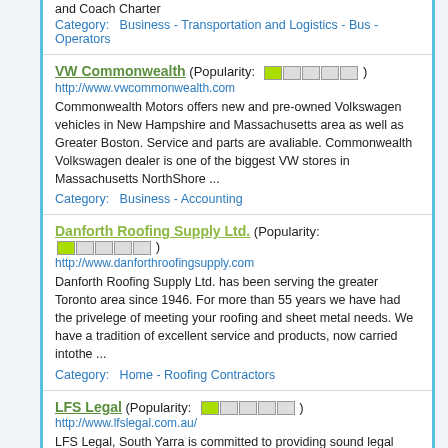and Coach Charter
Category: Business - Transportation and Logistics - Bus - Operators
VW Commonwealth (Popularity: 1/5)
http://www.vwcommonwealth.com
Commonwealth Motors offers new and pre-owned Volkswagen vehicles in New Hampshire and Massachusetts area as well as Greater Boston. Service and parts are avaliable. Commonwealth Volkswagen dealer is one of the biggest VW stores in Massachusetts NorthShore ...
Category: Business - Accounting
Danforth Roofing Supply Ltd. (Popularity: 1/5)
http://www.danforthroofingsupply.com
Danforth Roofing Supply Ltd. has been serving the greater Toronto area since 1946. For more than 55 years we have had the privelege of meeting your roofing and sheet metal needs. We have a tradition of excellent service and products, now carried intothe ...
Category: Home - Roofing Contractors
LFS Legal (Popularity: 1/5)
http://www.lfslegal.com.au/
LFS Legal, South Yarra is committed to providing sound legal representation and advice in family law, property law, wills & estates and owners corporations law. Our personal service and commitment to our clients is reflected in the longstanding nature ...
Category: Society - Law